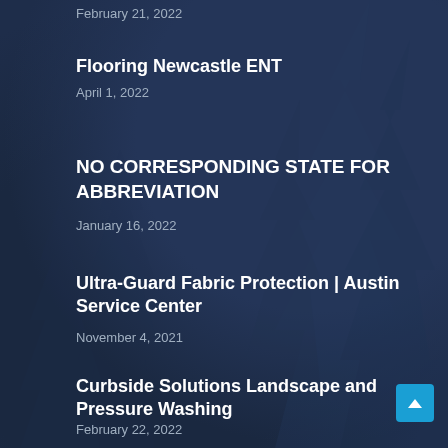February 21, 2022
Flooring Newcastle ENT
April 1, 2022
NO CORRESPONDING STATE FOR ABBREVIATION
January 16, 2022
Ultra-Guard Fabric Protection | Austin Service Center
November 4, 2021
Curbside Solutions Landscape and Pressure Washing
February 22, 2022